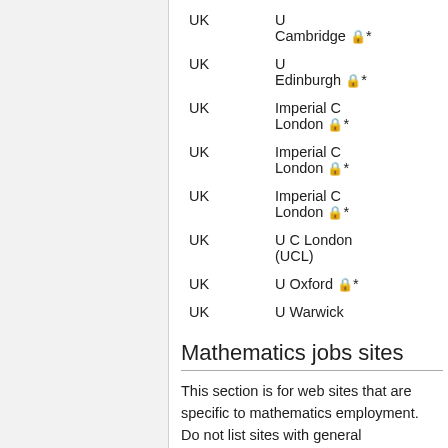| Country | University |
| --- | --- |
| UK | U Cambridge 🔒* |
| UK | U Edinburgh 🔒* |
| UK | Imperial C London 🔒* |
| UK | Imperial C London 🔒* |
| UK | Imperial C London 🔒* |
| UK | U C London (UCL) |
| UK | U Oxford 🔒* |
| UK | U Warwick |
Mathematics jobs sites
This section is for web sites that are specific to mathematics employment. Do not list sites with general employment assistance or solicitations.
MathJobs.org — Our favorite!